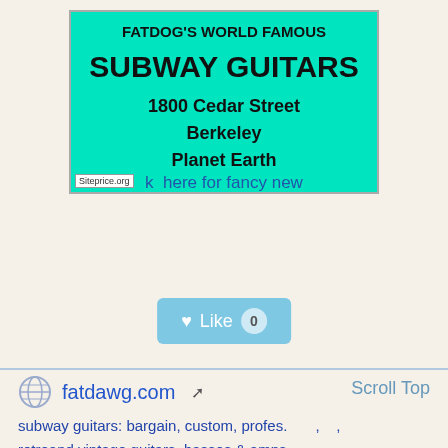[Figure (screenshot): Teal/cyan banner for Fatdog's World Famous Subway Guitars showing store name, address (1800 Cedar Street, Berkeley, Planet Earth), with Siteprice.org watermark and partial text at bottom]
[Figure (screenshot): Like button with heart icon showing 0 likes, light blue rounded rectangle]
fatdawg.com
Scroll Top
subway guitars: bargain, custom, profes., retroand vintage guitars, basses & amps
subway guitars: new and used, custom-built, factory-direct, professional qualiaty, acoustic & electric guitars, basses, amplifiers & parts